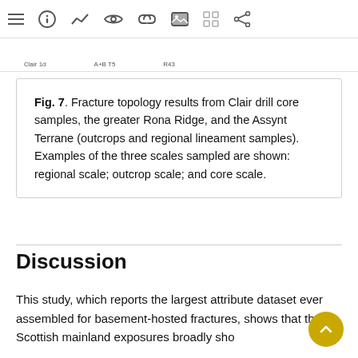[Figure (screenshot): Top toolbar with navigation icons: hamburger menu, info, chart/line, eye, link, image, grid, share]
[Figure (screenshot): Chart strip showing axis labels: Clair 1d, A+B T5, R43]
Fig. 7. Fracture topology results from Clair drill core samples, the greater Rona Ridge, and the Assynt Terrane (outcrops and regional lineament samples). Examples of the three scales sampled are shown: regional scale; outcrop scale; and core scale.
Discussion
This study, which reports the largest attribute dataset ever assembled for basement-hosted fractures, shows that the Scottish mainland exposures broadly sho